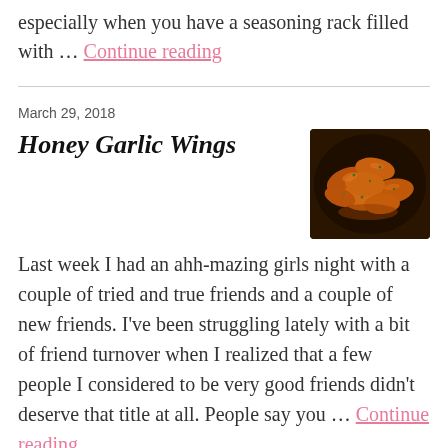especially when you have a seasoning rack filled with … Continue reading
March 29, 2018
Honey Garlic Wings
[Figure (photo): A dark skillet pan filled with honey garlic chicken wings, glazed and garnished with herbs, dark background.]
Last week I had an ahh-mazing girls night with a couple of tried and true friends and a couple of new friends. I've been struggling lately with a bit of friend turnover when I realized that a few people I considered to be very good friends didn't deserve that title at all. People say you … Continue reading